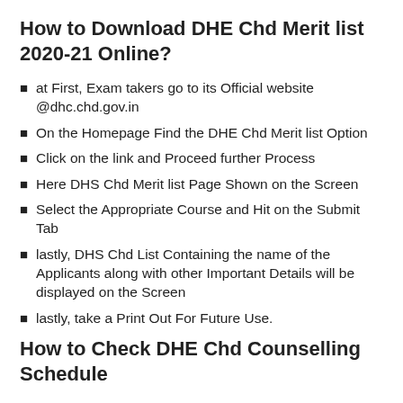How to Download DHE Chd Merit list 2020-21 Online?
at First, Exam takers go to its Official website @dhc.chd.gov.in
On the Homepage Find the DHE Chd Merit list Option
Click on the link and Proceed further Process
Here DHS Chd Merit list Page Shown on the Screen
Select the Appropriate Course and Hit on the Submit Tab
lastly, DHS Chd List Containing the name of the Applicants along with other Important Details will be displayed on the Screen
lastly, take a Print Out For Future Use.
How to Check DHE Chd Counselling Schedule